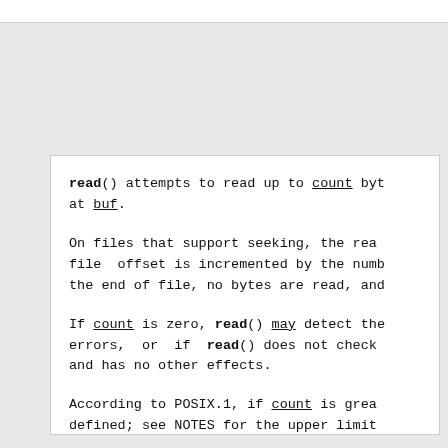read() attempts to read up to count bytes at buf.

On files that support seeking, the read file offset is incremented by the number... the end of file, no bytes are read, and...

If count is zero, read() may detect the errors, or if read() does not check and has no other effects.

According to POSIX.1, if count is great defined; see NOTES for the upper limit